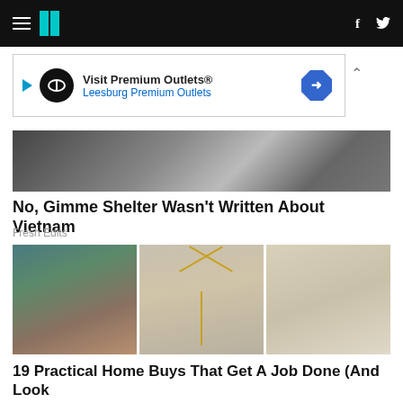HuffPost navigation header with hamburger menu, logo, Facebook and Twitter icons
[Figure (other): Advertisement banner: Visit Premium Outlets® - Leesburg Premium Outlets]
[Figure (photo): Black and white photo of people, partial view, related to Rolling Stones / Gimme Shelter article]
No, Gimme Shelter Wasn't Written About Vietnam
Fresh Edits
[Figure (photo): Three product photos side by side: colorful arch-shaped bookends, a gold jewelry stand with pearl necklace, and two wooden pepper/salt mills]
19 Practical Home Buys That Get A Job Done (And Look Great Doing It)